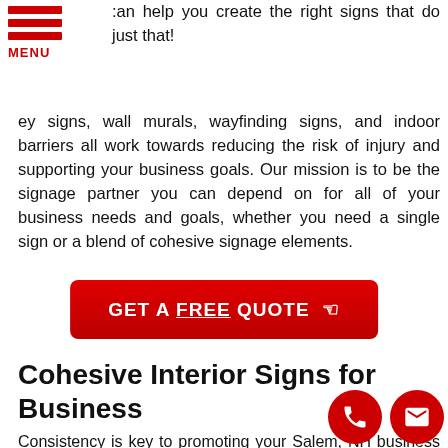[Figure (other): Red hamburger menu icon with three red bars and MENU label in red]
can help you create the right signs that do just that! y signs, wall murals, wayfinding signs, and indoor barriers all work towards reducing the risk of injury and supporting your business goals. Our mission is to be the signage partner you can depend on for all of your business needs and goals, whether you need a single sign or a blend of cohesive signage elements.
GET A FREE QUOTE ☞
Cohesive Interior Signs for Business
Consistency is key to promoting your Salem, NH business name and brand. When you have cohesive indoor signage throughout your facility, you create an environment that builds brand recognition through increased visibility. Your signage solutions can not only improve your professionalism but also engage your customers and